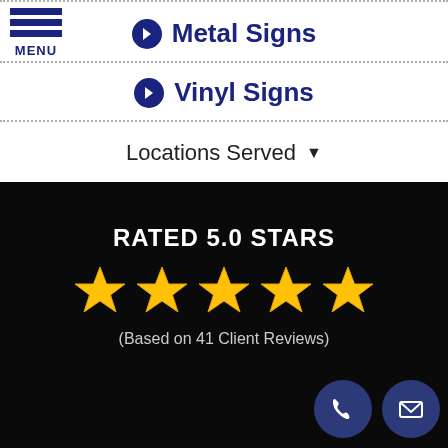Metal Signs
Vinyl Signs
Locations Served
RATED 5.0 STARS
[Figure (infographic): Five gold stars rating display]
(Based on 41 Client Reviews)